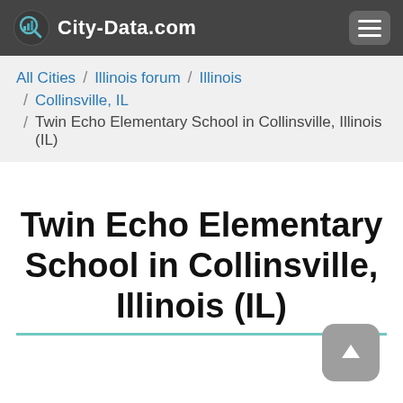City-Data.com
All Cities / Illinois forum / Illinois / Collinsville, IL / Twin Echo Elementary School in Collinsville, Illinois (IL)
Twin Echo Elementary School in Collinsville, Illinois (IL)